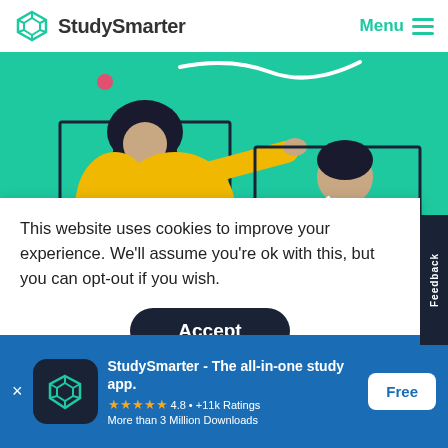StudySmarter   Menu
[Figure (illustration): StudySmarter website hero banner on teal/green background showing two illustrated characters - one with afro hair in yellow jacket pointing, another in pink top holding a mug - in a video-call style layout]
This website uses cookies to improve your experience. We'll assume you're ok with this, but you can opt-out if you wish.
Accept
[Figure (screenshot): StudySmarter app banner at bottom: app icon, title 'StudySmarter - The all-in-one study app.', 4.8 rating with +11k ratings, More than 3 Million Downloads, Free button]